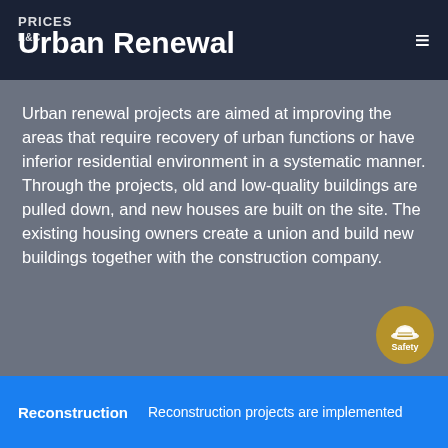Urban Renewal
Urban renewal projects are aimed at improving the areas that require recovery of urban functions or have inferior residential environment in a systematic manner. Through the projects, old and low-quality buildings are pulled down, and new houses are built on the site. The existing housing owners create a union and build new buildings together with the construction company.
[Figure (illustration): Safety icon button - gold circle with hard hat icon and 'Safety' label]
Reconstruction  Reconstruction projects are implemented